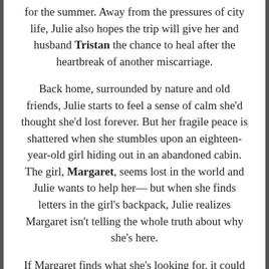for the summer. Away from the pressures of city life, Julie also hopes the trip will give her and husband Tristan the chance to heal after the heartbreak of another miscarriage.
Back home, surrounded by nature and old friends, Julie starts to feel a sense of calm she'd thought she'd lost forever. But her fragile peace is shattered when she stumbles upon an eighteen-year-old girl hiding out in an abandoned cabin. The girl, Margaret, seems lost in the world and Julie wants to help her—but when she finds letters in the girl's backpack, Julie realizes Margaret isn't telling the whole truth about why she's here.
If Margaret finds what she's looking for, it could expose a long-buried secret that could destroy the resort's reputation and tear Julie's family